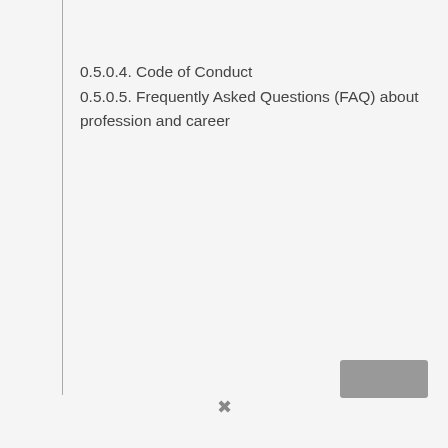0.5.0.4. Code of Conduct
0.5.0.5. Frequently Asked Questions (FAQ) about profession and career